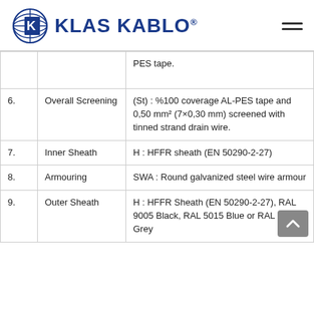[Figure (logo): Klas Kablo company logo with globe and K icon, company name in blue bold text]
| # | Layer | Description |
| --- | --- | --- |
|  |  | PES tape. |
| 6. | Overall Screening | (St) : %100 coverage AL-PES tape and 0,50 mm² (7×0,30 mm) screened with tinned strand drain wire. |
| 7. | Inner Sheath | H : HFFR sheath (EN 50290-2-27) |
| 8. | Armouring | SWA : Round galvanized steel wire armour |
| 9. | Outer Sheath | H : HFFR Sheath (EN 50290-2-27), RAL 9005 Black, RAL 5015 Blue or RAL 7001 Grey |